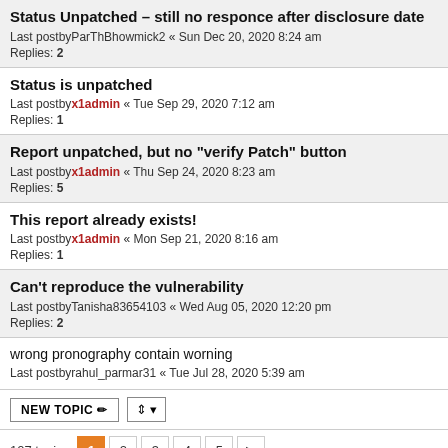Status Unpatched – still no responce after disclosure date
Last postby ParThBhowmick2 « Sun Dec 20, 2020 8:24 am
Replies: 2
Status is unpatched
Last postby x1admin « Tue Sep 29, 2020 7:12 am
Replies: 1
Report unpatched, but no "verify Patch" button
Last postby x1admin « Thu Sep 24, 2020 8:23 am
Replies: 5
This report already exists!
Last postby x1admin « Mon Sep 21, 2020 8:16 am
Replies: 1
Can't reproduce the vulnerability
Last postby Tanisha83654103 « Wed Aug 05, 2020 12:20 pm
Replies: 2
wrong pronography contain worning
Last postby rahul_parmar31 « Tue Jul 28, 2020 5:39 am
107 topics  1  2  3  4  5  >
JUMP TO
Who is online
Users browsing this forum: No registered users and 1 guest